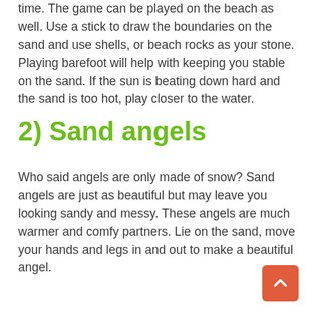time. The game can be played on the beach as well. Use a stick to draw the boundaries on the sand and use shells, or beach rocks as your stone. Playing barefoot will help with keeping you stable on the sand. If the sun is beating down hard and the sand is too hot, play closer to the water.
2) Sand angels
Who said angels are only made of snow? Sand angels are just as beautiful but may leave you looking sandy and messy. These angels are much warmer and comfy partners. Lie on the sand, move your hands and legs in and out to make a beautiful angel.